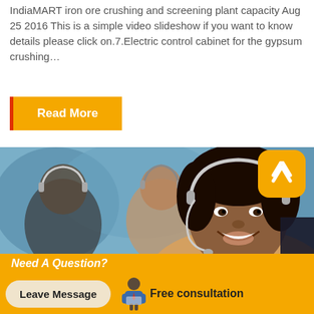IndiaMART iron ore crushing and screening plant capacity Aug 25 2016 This is a simple video slideshow if you want to know details please click on.7.Electric control cabinet for the gypsum crushing…
Read More
[Figure (photo): Customer service representatives wearing headsets, smiling at camera in a call center environment]
Need A Question?
Leave Message
Free consultation